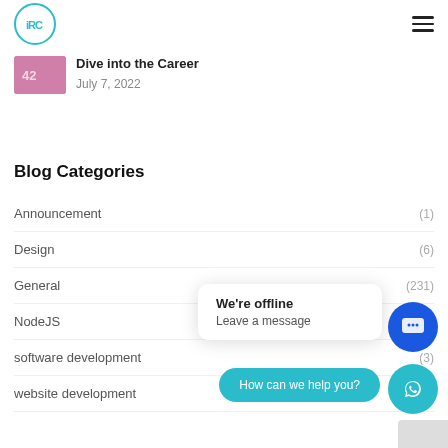iRC logo and hamburger menu
[Figure (screenshot): Partially visible blog article thumbnail (pink/purple) with title 'Dive into the Career' and date 'July 7, 2022']
Dive into the Career
July 7, 2022
Blog Categories
Announcement (1)
Design (6)
General (231)
NodeJS
software development (3)
website development (1)
[Figure (screenshot): Chat popup overlay: 'We're offline / Leave a message', blue chat button, teal WhatsApp button, and 'How can we help you?' pill button]